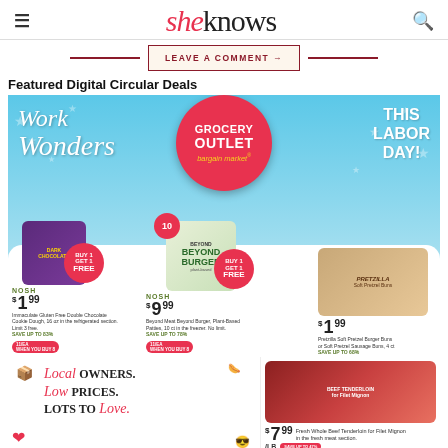sheknows
LEAVE A COMMENT →
Featured Digital Circular Deals
[Figure (infographic): Grocery Outlet Bargain Market digital circular ad featuring 'Work Wonders This Labor Day' banner. Products shown: Immaculate Gluten Free Double Chocolate Cookie Dough $1.99 Buy 1 Get 1 Free (save up to 83%), Beyond Meat Beyond Burger Plant-Based Patties $9.99 Buy 1 Get 1 Free (save up to 78%), Pretzilla Soft Pretzel Burger Buns or Soft Pretzel Sausage Buns $1.99 (save up to 68%). Bottom section shows 'Local Owners. Low Prices. Lots to Love.' with Fresh Whole Beef Tenderloin for Filet Mignon $7.99/lb (save up to 47%).]